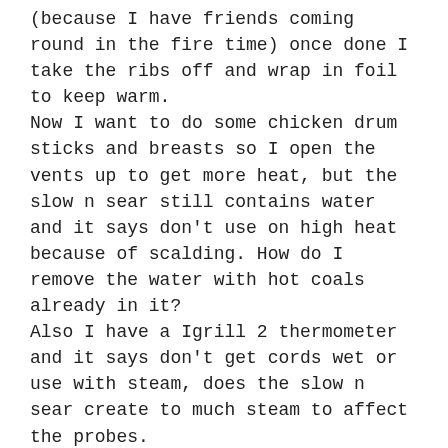(because I have friends coming round in the fire time) once done I take the ribs off and wrap in foil to keep warm.
Now I want to do some chicken drum sticks and breasts so I open the vents up to get more heat, but the slow n sear still contains water and it says don't use on high heat because of scalding. How do I remove the water with hot coals already in it?
Also I have a Igrill 2 thermometer and it says don't get cords wet or use with steam, does the slow n sear create to much steam to affect the probes.
Hope someone can answer these.
many thanks
Mark